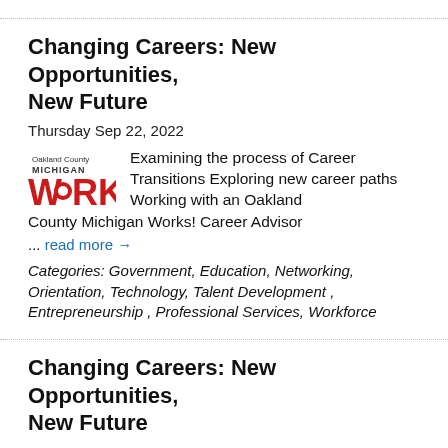Changing Careers: New Opportunities, New Future
Thursday Sep 22, 2022
Examining the process of Career Transitions Exploring new career paths Working with an Oakland County Michigan Works! Career Advisor
... read more →
Categories: Government, Education, Networking, Orientation, Technology, Talent Development , Entrepreneurship , Professional Services, Workforce
Changing Careers: New Opportunities, New Future